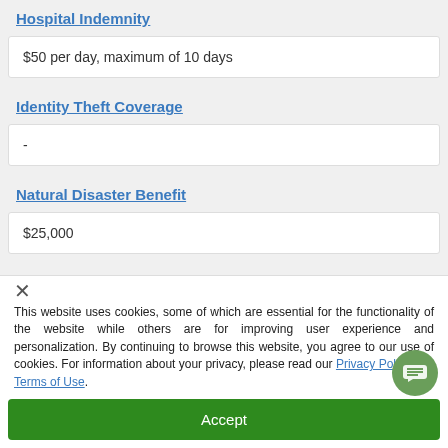Hospital Indemnity
$50 per day, maximum of 10 days
Identity Theft Coverage
-
Natural Disaster Benefit
$25,000
Terrorism Coverage
This website uses cookies, some of which are essential for the functionality of the website while others are for improving user experience and personalization. By continuing to browse this website, you agree to our use of cookies. For information about your privacy, please read our Privacy Policy and Terms of Use.
Accept